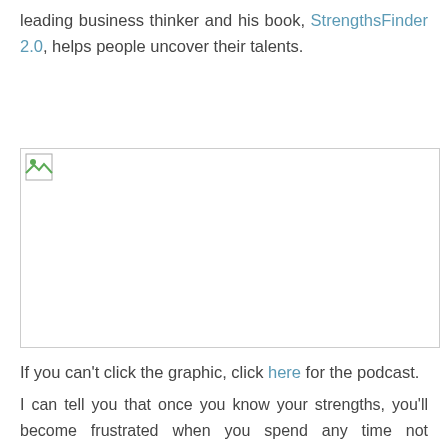leading business thinker and his book, StrengthsFinder 2.0, helps people uncover their talents.
[Figure (other): Broken image placeholder with a small image icon in the top-left corner and a border outline.]
If you can't click the graphic, click here for the podcast.
I can tell you that once you know your strengths, you'll become frustrated when you spend any time not operating in them. You'll also take a much harder look at what the future can be now that you have a better